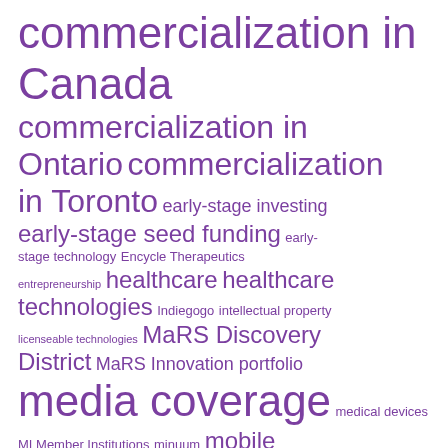[Figure (infographic): Tag cloud with purple text of varying sizes showing topics related to commercialization, healthcare, and technology. Tags include: commercialization in Canada, commercialization in Ontario, commercialization in Toronto, early-stage investing, early-stage seed funding, early-stage technology, Encycle Therapeutics, entrepreneurship, healthcare, healthcare technologies, Indiegogo, intellectual property, licenseable technologies, MaRS Discovery District, MaRS Innovation portfolio, media coverage, medical devices, MI Member Institutions, minuum, mobile technology, Networks of Centres of (cut off)]